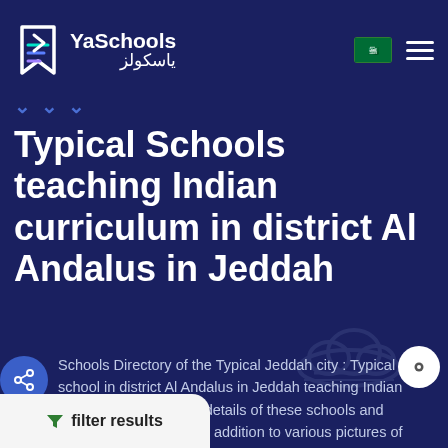[Figure (logo): YaSchools logo with Arabic text يا سكولز and stylized arrow/bookmark icon]
Typical Schools teaching Indian curriculum in district Al Andalus in Jeddah
Schools Directory of the Typical Jeddah city : Typical school in district Al Andalus in Jeddah teaching Indian curriculum With all the details of these schools and parents' evaluations , in addition to various pictures of buildings and activities for schools of communicate directly with any through the methods of